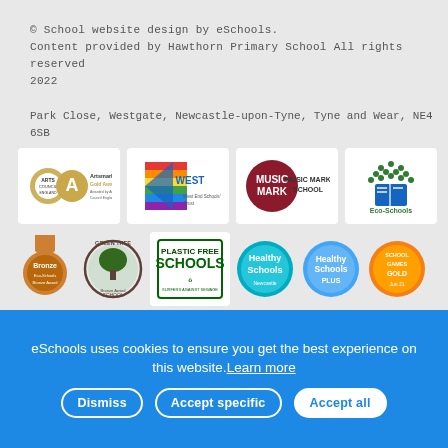© School website design by eSchools. Content provided by Hawthorn Primary School All rights reserved 2022
Park Close, Westgate, Newcastle-upon-Tyne, Tyne and Wear, NE4 6SB
[Figure (logo): Row of school award logos: Artsmark Gold Award, West End Schools Trust, Music Mark School, Eco-Schools]
[Figure (logo): Row of school award logos: Eco-Schools Bronze Award, Green Tree School, Plastic Free Schools, Healthy Schools Newcastle, Healthy Schools Plus, School Games Gold]
eSchools uses cookies to ensure you get the best experience on this website. Learn more
Dismiss  Accept specific  Accept all